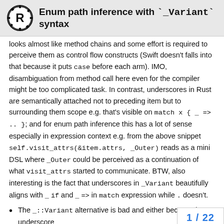Enum path inference with `_Variant` syntax
looks almost like method chains and some effort is required to perceive them as control flow constructs (Swift doesn't falls into that because it puts case before each arm). IMO, disambiguation from method call here even for the compiler might be too complicated task. In contrast, underscores in Rust are semantically attached not to preceding item but to surrounding them scope e.g. that's visible on match x { _ => .. }; and for enum path inference this has a lot of sense especially in expression context e.g. from the above snippet self.visit_attrs(&item.attrs, _Outer) reads as a mini DSL where _Outer could be perceived as a continuation of what visit_attrs started to communicate. BTW, also interesting is the fact that underscores in _Variant beautifully aligns with _ if and _ => in match expression while . doesn't.
The _::Variant alternative is bad and either because here underscore
1 / 22